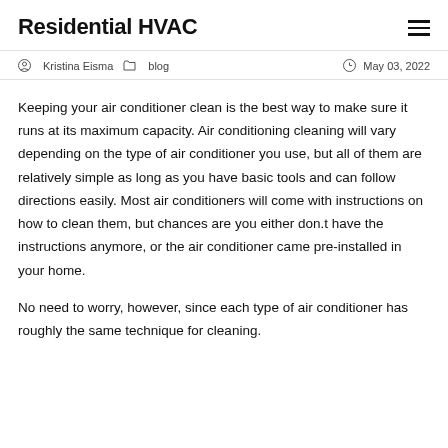Residential HVAC
Kristina Eisma  blog  May 03, 2022
Keeping your air conditioner clean is the best way to make sure it runs at its maximum capacity. Air conditioning cleaning will vary depending on the type of air conditioner you use, but all of them are relatively simple as long as you have basic tools and can follow directions easily. Most air conditioners will come with instructions on how to clean them, but chances are you either don.t have the instructions anymore, or the air conditioner came pre-installed in your home.
No need to worry, however, since each type of air conditioner has roughly the same technique for cleaning.